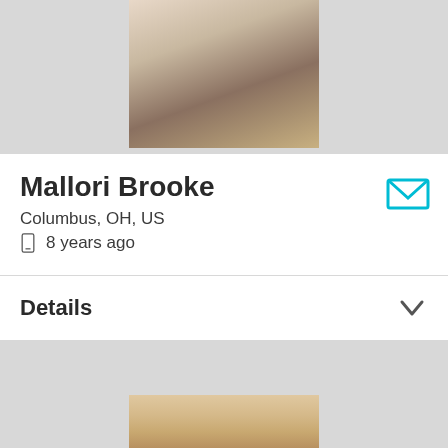[Figure (photo): Partial close-up photo of a person with blonde hair, top portion cropped]
Mallori Brooke
Columbus, OH, US
8 years ago
Details
[Figure (photo): Partial photo of a person with blonde hair, bottom portion visible]